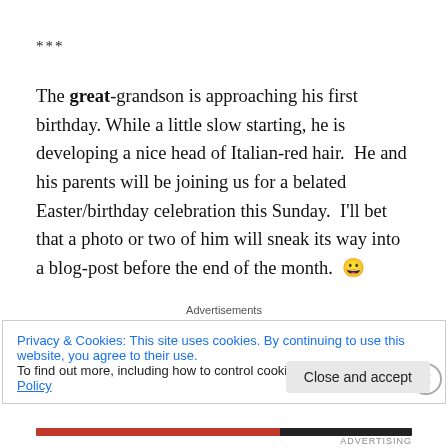***
The great-grandson is approaching his first birthday. While a little slow starting, he is developing a nice head of Italian-red hair.  He and his parents will be joining us for a belated Easter/birthday celebration this Sunday.  I'll bet that a photo or two of him will sneak its way into a blog-post before the end of the month.  😀
Advertisements
Privacy & Cookies: This site uses cookies. By continuing to use this website, you agree to their use.
To find out more, including how to control cookies, see here: Cookie Policy